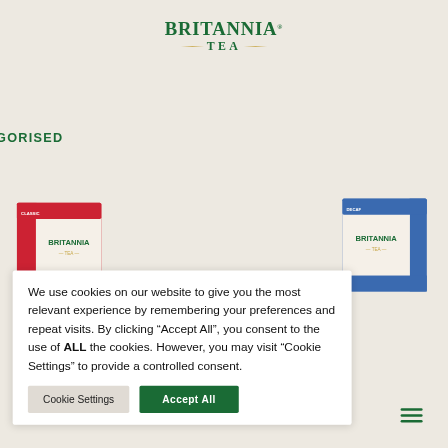[Figure (logo): Britannia Tea logo in dark green serif font with gold decorative lines between BRITANNIA and TEA]
UNCATEGORISED
[Figure (photo): Two Britannia Tea boxes visible in background — a red box on the left and a blue box on the right]
We use cookies on our website to give you the most relevant experience by remembering your preferences and repeat visits. By clicking “Accept All”, you consent to the use of ALL the cookies. However, you may visit “Cookie Settings” to provide a controlled consent.
Cookie Settings
Accept All